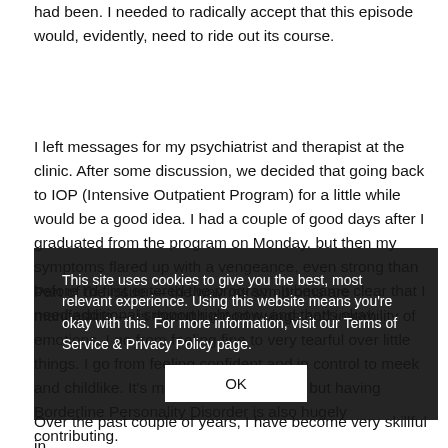had been.  I needed to radically accept that this episode would, evidently, need to ride out its course.
I left messages for my psychiatrist and therapist at the clinic. After some discussion, we decided that going back to IOP (Intensive Outpatient Program) for a little while would be a good idea. I had a couple of good days after I graduated from the program on Monday, but then my symptoms flared up with a vengeance, even strong than before I'd first entered the program.  It became clear that I need additional support right now, and that's okay.
Part of the issue — the way my symptoms are manifesting — is through mood swings and instability of emotions. I go from feeling fine to very tearful over little things. I go from feeling confident and in control to meek and childlike.  It's mostly PTSD induced, but having Borderline Personality Disorder is also hugely contributing.
This site uses cookies to give you the best, most relevant experience. Using this website means you're okay with this. For more information, visit our Terms of Service & Privacy Policy page.
Over the past couple of years, I have become very skillful in